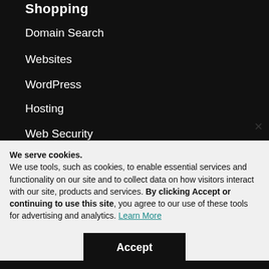Shopping
Domain Search
Websites
WordPress
Hosting
Web Security
We serve cookies. We use tools, such as cookies, to enable essential services and functionality on our site and to collect data on how visitors interact with our site, products and services. By clicking Accept or continuing to use this site, you agree to our use of these tools for advertising and analytics. Learn More
Accept
Decline
Manage Settings